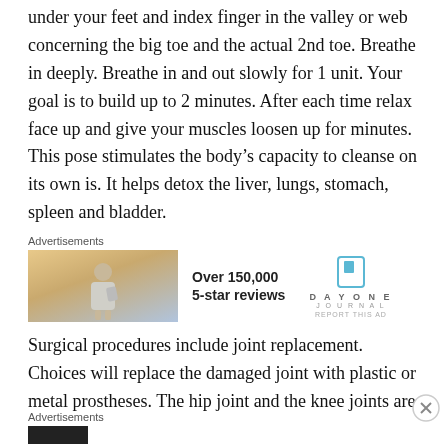under your feet and index finger in the valley or web concerning the big toe and the actual 2nd toe. Breathe in deeply. Breathe in and out slowly for 1 unit. Your goal is to build up to 2 minutes. After each time relax face up and give your muscles loosen up for minutes. This pose stimulates the body's capacity to cleanse on its own is. It helps detox the liver, lungs, stomach, spleen and bladder.
[Figure (other): Advertisement banner with a photo of a person photographing a sunset, alongside Day One Journal app promotion showing 'Over 150,000 5-star reviews']
Surgical procedures include joint replacement. Choices will replace the damaged joint with plastic or metal prostheses. The hip joint and the knee joints are probably the most commonly replaced ones. Realignment of bones
[Figure (other): Advertisements label at the bottom of the page with a dark advertisement bar below it]